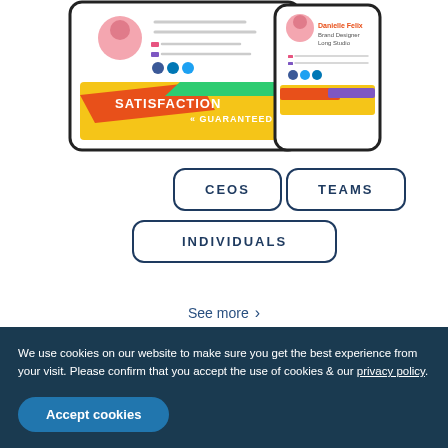[Figure (screenshot): Screenshot showing a digital business card/profile on tablet and phone with 'SATISFACTION GUARANTEED' banner in yellow/orange, featuring a profile named Danielle Felix, Brand Designer at Long Studio, with social media icons.]
CEOS
TEAMS
INDIVIDUALS
See more >
We use cookies on our website to make sure you get the best experience from your visit. Please confirm that you accept the use of cookies & our privacy policy.
Accept cookies